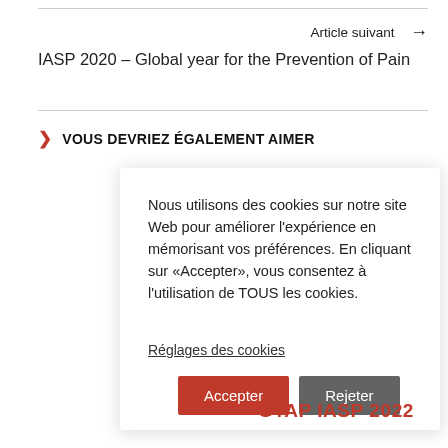Article suivant →
IASP 2020 – Global year for the Prevention of Pain
❯ VOUS DEVRIEZ ÉGALEMENT AIMER
Nous utilisons des cookies sur notre site Web pour améliorer l'expérience en mémorisant vos préférences. En cliquant sur «Accepter», vous consentez à l'utilisation de TOUS les cookies.
Réglages des cookies
Accepter   Rejeter
GTAP IASP 2022